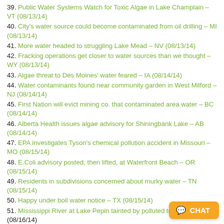39. Public Water Systems Watch for Toxic Algae in Lake Champlain – VT (08/13/14)
40. City's water source could become contaminated from oil drilling – MI (08/13/14)
41. More water headed to struggling Lake Mead – NV (08/13/14)
42. Fracking operations get closer to water sources than we thought – WY (08/13/14)
43. Algae threat to Des Moines' water feared – IA (08/14/14)
44. Water contaminants found near community garden in West Milford – NJ (08/14/14)
45. First Nation will evict mining co. that contaminated area water – BC (08/14/14)
46. Alberta Health issues algae advisory for Shiningbank Lake – AB (08/14/14)
47. EPA investigates Tyson's chemical pollution accident in Missouri – MO (08/15/14)
48. E.Coli advisory posted, then lifted, at Waterfront Beach – OR (08/15/14)
49. Residents in subdivisions concerned about murky water – TN (08/15/14)
50. Happy under boil water notice – TX (08/15/14)
51. Mississippi River at Lake Pepin tainted by polluted tro… MN (08/16/14)